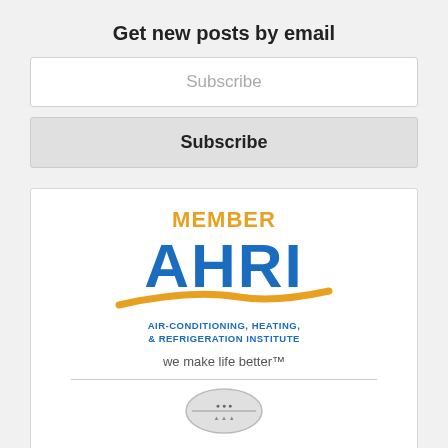Get new posts by email
Subscribe
Subscribe
[Figure (logo): AHRI Member logo: orange 'MEMBER' text above large blue 'AHRI' letters with an orange swoosh/wave, subtitle 'AIR-CONDITIONING, HEATING, & REFRIGERATION INSTITUTE', tagline 'we make life better™']
[Figure (logo): Partially visible circular seal/badge at the bottom of the AHRI card]